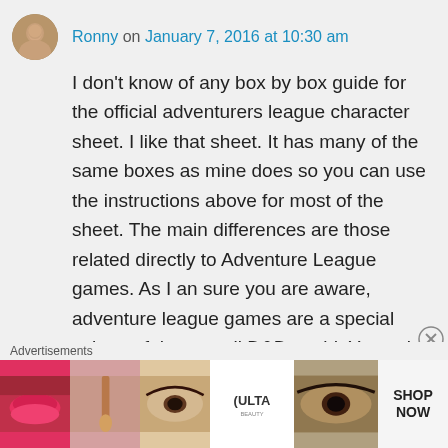[Figure (photo): User avatar photo of Ronny, a person's face]
Ronny on January 7, 2016 at 10:30 am
I don't know of any box by box guide for the official adventurers league character sheet. I like that sheet. It has many of the same boxes as mine does so you can use the instructions above for most of the sheet. The main differences are those related directly to Adventure League games. As I an sure you are aware, adventure league games are a special subset of the overall D&D world. You only need to use those character sheets if you are playing an
Advertisements
[Figure (photo): Advertisements banner showing makeup and beauty images with ULTA logo and SHOP NOW text]